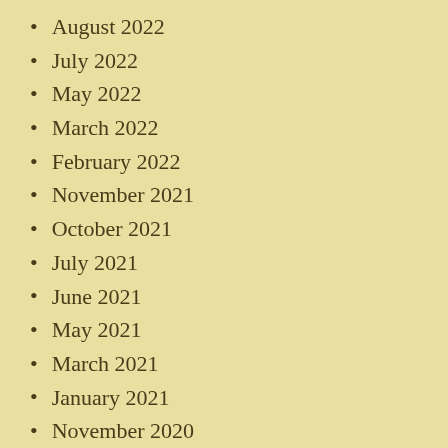August 2022
July 2022
May 2022
March 2022
February 2022
November 2021
October 2021
July 2021
June 2021
May 2021
March 2021
January 2021
November 2020
October 2020
August 2020
May 2020